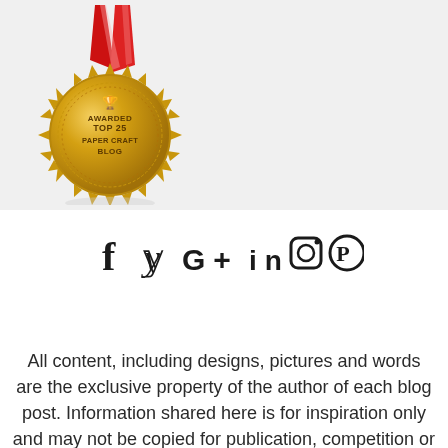[Figure (illustration): Gold medal with red ribbon, text reading 'AWARDED TOP 25 PAPER CRAFT BLOG' with a trophy icon at the top]
[Figure (other): Social media icons: Facebook (f), Twitter (bird), Google+, LinkedIn (in), Instagram (camera), Pinterest (P)]
All content, including designs, pictures and words are the exclusive property of the author of each blog post. Information shared here is for inspiration only and may not be copied for publication, competition or profit. Thank you for your cooperation.